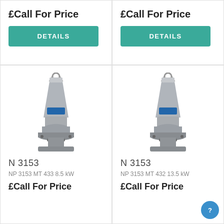£Call For Price
DETAILS
£Call For Price
DETAILS
[Figure (photo): Industrial submersible pump N 3153, silver/grey metal body with blue label and flanged base]
N 3153
NP 3153 MT 433 8.5 kW
£Call For Price
[Figure (photo): Industrial submersible pump N 3153, silver/grey metal body with blue label and flanged base]
N 3153
NP 3153 MT 432 13.5 kW
£Call For Price